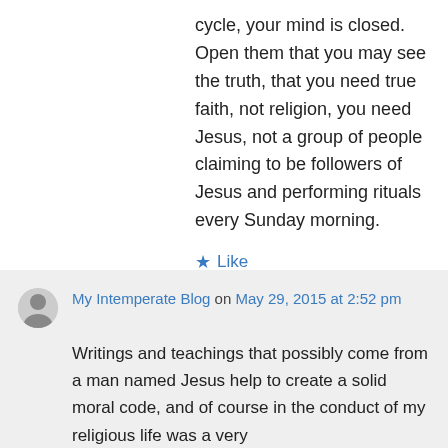cycle, your mind is closed. Open them that you may see the truth, that you need true faith, not religion, you need Jesus, not a group of people claiming to be followers of Jesus and performing rituals every Sunday morning.
★ Like
↪ Reply
My Intemperate Blog on May 29, 2015 at 2:52 pm
Writings and teachings that possibly come from a man named Jesus help to create a solid moral code, and of course in the conduct of my religious life was a very